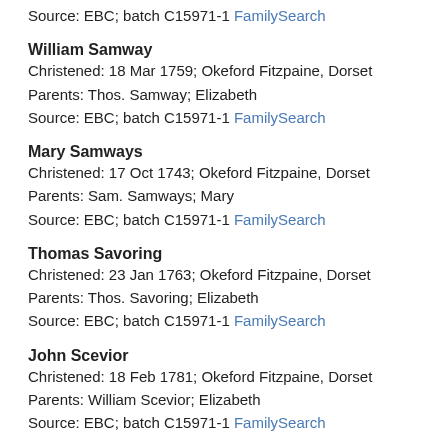Source: EBC; batch C15971-1 FamilySearch
William Samway
Christened: 18 Mar 1759; Okeford Fitzpaine, Dorset
Parents: Thos. Samway; Elizabeth
Source: EBC; batch C15971-1 FamilySearch
Mary Samways
Christened: 17 Oct 1743; Okeford Fitzpaine, Dorset
Parents: Sam. Samways; Mary
Source: EBC; batch C15971-1 FamilySearch
Thomas Savoring
Christened: 23 Jan 1763; Okeford Fitzpaine, Dorset
Parents: Thos. Savoring; Elizabeth
Source: EBC; batch C15971-1 FamilySearch
John Scevior
Christened: 18 Feb 1781; Okeford Fitzpaine, Dorset
Parents: William Scevior; Elizabeth
Source: EBC; batch C15971-1 FamilySearch